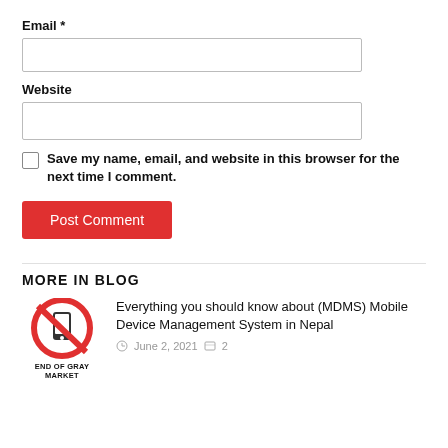Email *
Website
Save my name, email, and website in this browser for the next time I comment.
Post Comment
MORE IN BLOG
[Figure (logo): End of Gray Market logo: a red circle with a diagonal line over a smartphone icon, with text 'END OF GRAY MARKET' below]
Everything you should know about (MDMS) Mobile Device Management System in Nepal
June 2, 2021  2